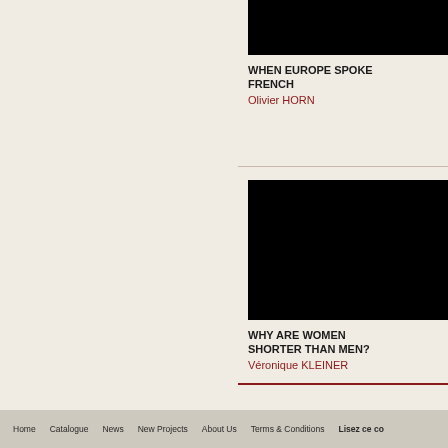[Figure (photo): Black image placeholder for book cover - When Europe Spoke French]
WHEN EUROPE SPOKE FRENCH
Olivier HORN
[Figure (photo): Black image placeholder for book cover - Why Are Women Shorter Than Men?]
WHY ARE WOMEN SHORTER THAN MEN?
Véronique KLEINER
Home   Catalogue   News   New Projects   About Us   Terms & Conditions   Lisez ce co